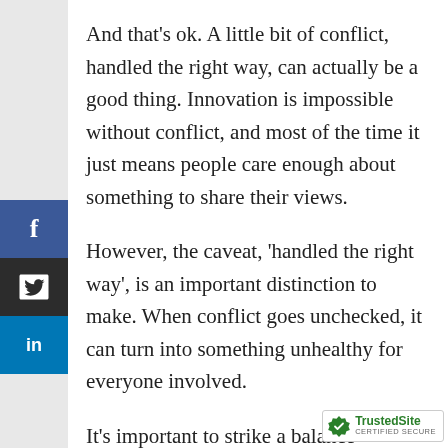And that's ok. A little bit of conflict, handled the right way, can actually be a good thing. Innovation is impossible without conflict, and most of the time it just means people care enough about something to share their views.
However, the caveat, 'handled the right way', is an important distinction to make. When conflict goes unchecked, it can turn into something unhealthy for everyone involved.
It's important to strike a balance between being over-vigilant about every disagreement and being neglectful of urgent warning signs. With practice, you'll get